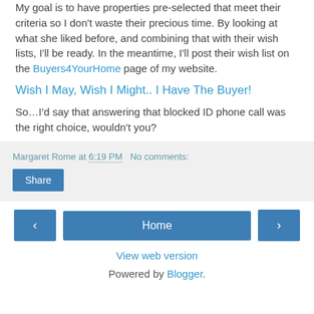My goal is to have properties pre-selected that meet their criteria so I don't waste their precious time. By looking at what she liked before, and combining that with their wish lists, I'll be ready. In the meantime, I'll post their wish list on the Buyers4YourHome page of my website.
Wish I May, Wish I Might.. I Have The Buyer!
So…I'd say that answering that blocked ID phone call was the right choice, wouldn't you?
Margaret Rome at 6:19 PM   No comments:
Share
Home
View web version
Powered by Blogger.